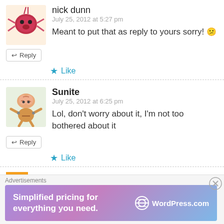nick dunn
July 25, 2012 at 5:27 pm
Meant to put that as reply to yours sorry! 😕
↩ Reply
★ Like
Sunite
July 25, 2012 at 6:25 pm
Lol, don't worry about it, I'm not too bothered about it
↩ Reply
★ Like
nick dunn
Advertisements
Simplified pricing for everything you need. WordPress.com